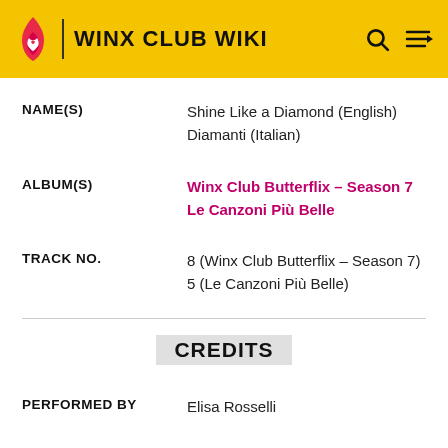WINX CLUB WIKI
| Field | Value |
| --- | --- |
| NAME(S) | Shine Like a Diamond (English)
Diamanti (Italian) |
| ALBUM(S) | Winx Club Butterflix – Season 7 Le Canzoni Più Belle |
| TRACK NO. | 8 (Winx Club Butterflix – Season 7)
5 (Le Canzoni Più Belle) |
CREDITS
| Field | Value |
| --- | --- |
| PERFORMED BY | Elisa Rosselli |
| MUSIC BY | Maurizio D'Aniello |